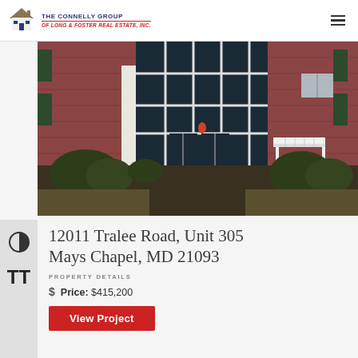The Connelly Group of Long & Foster Real Estate, Inc.
[Figure (photo): Exterior photo of a brick condominium building entrance with large glass windows, white pillars, a white bench, and a concrete walkway lined with shrubs and landscaping.]
12011 Tralee Road, Unit 305
Mays Chapel, MD 21093
PROPERTY DETAILS
Price: $415,200
View Project